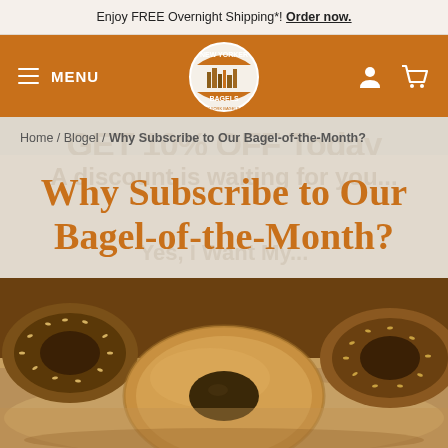Enjoy FREE Overnight Shipping*! Order now.
[Figure (logo): New Yorker Bagels circular logo with NYC skyline illustration]
MENU
Home / Blogel / Why Subscribe to Our Bagel-of-the-Month?
Why Subscribe to Our Bagel-of-the-Month?
[Figure (photo): Close-up photo of assorted bagels including sesame and plain bagels on a surface]